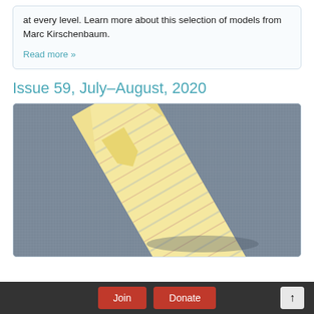at every level. Learn more about this selection of models from Marc Kirschenbaum.
Read more »
Issue 59, July–August, 2020
[Figure (photo): Photo of an origami shirt and tie folded from yellow patterned paper, placed on a blue/grey textured background.]
Join
Donate